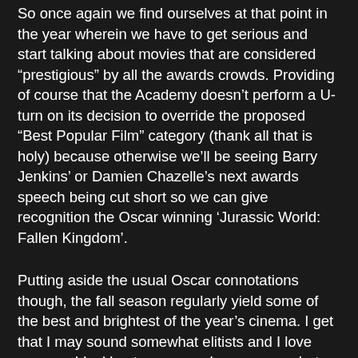So once again we find ourselves at that point in the year wherein we have to get serious and start talking about movies that are considered “prestigious” by all the awards crowds. Providing of course that the Academy doesn’t perform a U-turn on its decision to override the proposed “Best Popular Film” category (thank all that is holy) because otherwise we’ll be seeing Barry Jenkins’ or Damien Chazelle’s next awards speech being cut short so we can give recognition the Oscar winning ‘Jurassic World: Fallen Kingdom’.
Putting aside the usual Oscar connotations though, the fall season regularly yield some of the best and brightest of the year’s cinema. I get that I may sound somewhat elitists and I love summer blockbusters as much as anyone, but there’s nothing quite like seeing a film that well and truly feels like it has been birthed from a filmmakers creative and quixotic prowess. This time of year has that and more in abundance. So as ever I’m listing the ten movies for the remainder of the years than I am most excited to see.